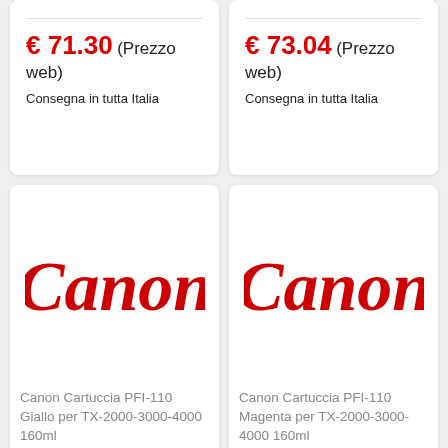€ 71.30 (Prezzo web)
Consegna in tutta Italia
€ 73.04 (Prezzo web)
Consegna in tutta Italia
[Figure (logo): Canon logo in red]
Canon Cartuccia PFI-110 Giallo per TX-2000-3000-4000 160ml
[Figure (logo): Canon logo in red]
Canon Cartuccia PFI-110 Magenta per TX-2000-3000-4000 160ml